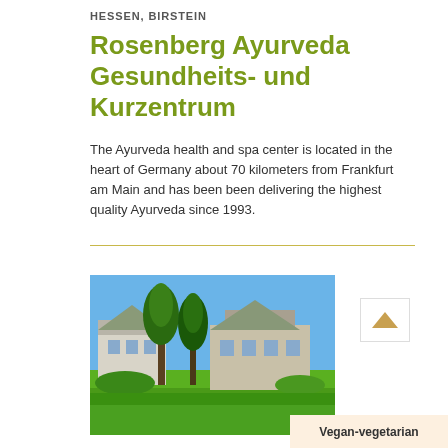HESSEN, BIRSTEIN
Rosenberg Ayurveda Gesundheits- und Kurzentrum
The Ayurveda health and spa center is located in the heart of Germany about 70 kilometers from Frankfurt am Main and has been been delivering the highest quality Ayurveda since 1993.
[Figure (photo): Exterior photo of the Rosenberg Ayurveda center building surrounded by tall trees and green lawn, with blue sky in the background.]
Vegan-vegetarian